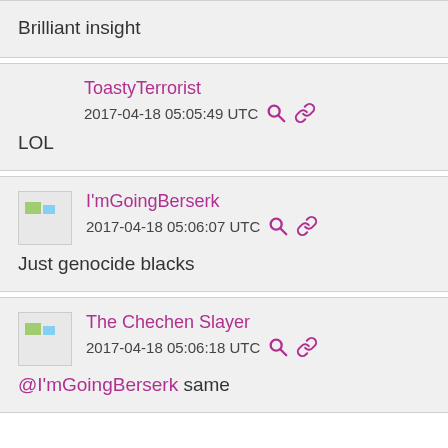Brilliant insight
ToastyTerrorist
2017-04-18 05:05:49 UTC
LOL
I'mGoingBerserk
2017-04-18 05:06:07 UTC
Just genocide blacks
The Chechen Slayer
2017-04-18 05:06:18 UTC
@I'mGoingBerserk same